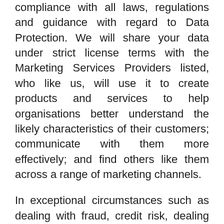compliance with all laws, regulations and guidance with regard to Data Protection. We will share your data under strict license terms with the Marketing Services Providers listed, who like us, will use it to create products and services to help organisations better understand the likely characteristics of their customers; communicate with them more effectively; and find others like them across a range of marketing channels.
In exceptional circumstances such as dealing with fraud, credit risk, dealing with abusive online behavior, to enforce rights, to protect property, to protect human safety, if the law requires it; or if we sell or merge any part of our business, we may pass your personal data to another person or organization to use for their own purposes after obtaining your explicit consent on the matter. We